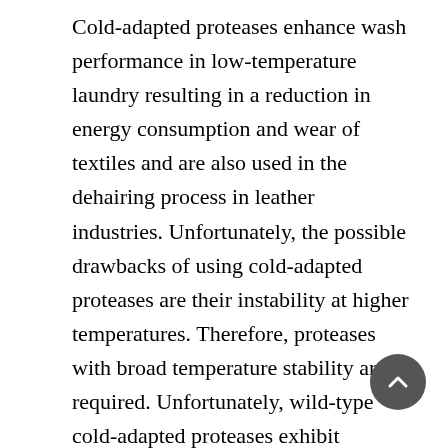Cold-adapted proteases enhance wash performance in low-temperature laundry resulting in a reduction in energy consumption and wear of textiles and are also used in the dehairing process in leather industries. Unfortunately, the possible drawbacks of using cold-adapted proteases are their instability at higher temperatures. Therefore, proteases with broad temperature stability are required. Unfortunately, wild-type cold-adapted proteases exhibit instability at higher temperatures and thus have low shelf lives. Therefore, attempts to engineer cold-adapted proteases by protein engineering were made previously by directed evolution and random mutagenesis. The lacuna is the time, capital, and labour involved to obtain these variants are very demanding and challenging. Therefore, rational engineering for cold stability without compromising an enzyme's optimum pH and temperature for activity is the